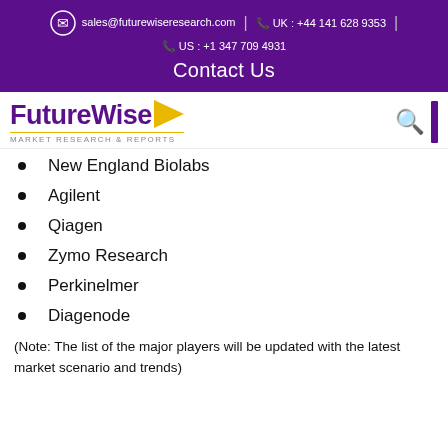sales@futurewiseresearch.com | UK : +44 141 628 9353 | US : +1 347 709 4931
Contact Us
[Figure (logo): FutureWise Market Research & Reports logo with yellow arrow and search icon]
New England Biolabs
Agilent
Qiagen
Zymo Research
Perkinelmer
Diagenode
(Note: The list of the major players will be updated with the latest market scenario and trends)